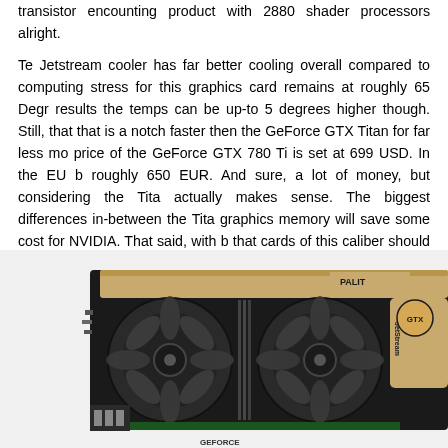transistor encounting product with 2880 shader processors alright.

Te Jetstream cooler has far better cooling overall compared to computing stress for this graphics card remains at roughly 65 Degr results the temps can be up-to 5 degrees higher though. Still, that that is a notch faster then the GeForce GTX Titan for far less mo price of the GeForce GTX 780 Ti is set at 699 USD. In the EU b roughly 650 EUR. And sure, a lot of money, but considering the Tita actually makes sense. The biggest differences in-between the Tita graphics memory will save some cost for NVIDIA. That said, with b that cards of this caliber should have gotten 4 GB of memory at th already are filling that framebuffer close to 3GB. Future games w utilization will be breached. The second difference in-between Tita remain the product to get if youy are computing a lot, you get full DP a 1:24 ratio. But that's not a troublesome factor for gaming whatso GeForce GTX 780 Ti cards available on the market. We had a great
[Figure (photo): Photo of a GeForce GTX 780 Ti graphics card with Jetstream cooler, showing black fans and gold/tan shroud, partially cropped on the right side.]